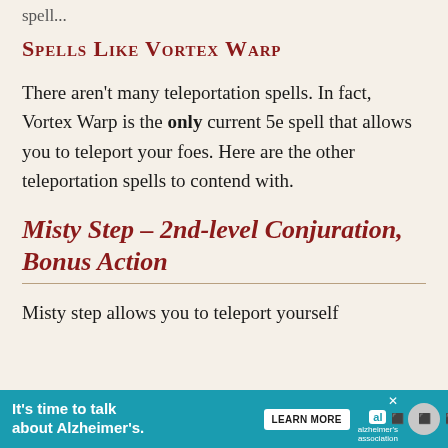spell...
Spells Like Vortex Warp
There aren't many teleportation spells. In fact, Vortex Warp is the only current 5e spell that allows you to teleport your foes. Here are the other teleportation spells to contend with.
Misty Step – 2nd-level Conjuration, Bonus Action
Misty step allows you to teleport yourself
It's time to talk about Alzheimer's. LEARN MORE